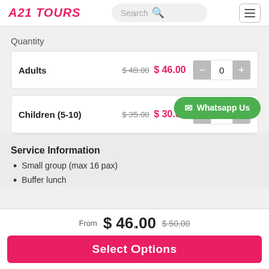A21 TOURS
Quantity
| Type | Original Price | Sale Price | Quantity |
| --- | --- | --- | --- |
| Adults | $ 48.00 | $ 46.00 | 0 |
| Children (5-10) | $ 35.00 | $ 30.00 | 0 |
Service Information
Small group (max 16 pax)
Buffer lunch
Whatsapp Us
From  $ 46.00  $ 50.00
Select Options